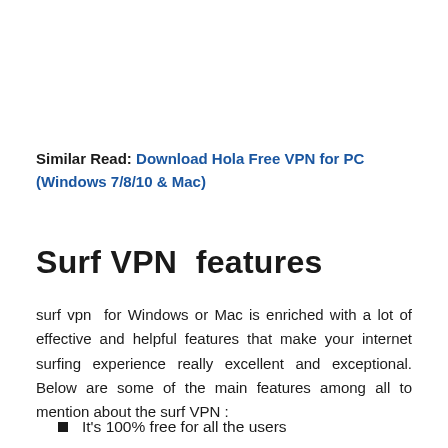Similar Read: Download Hola Free VPN for PC (Windows 7/8/10 & Mac)
Surf VPN  features
surf vpn  for Windows or Mac is enriched with a lot of effective and helpful features that make your internet surfing experience really excellent and exceptional. Below are some of the main features among all to mention about the surf VPN :
It's 100% free for all the users